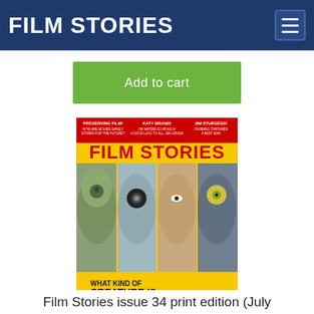FILM STORIES
Add to cart
[Figure (photo): Magazine cover of Film Stories issue 34 featuring Doug Jones. Yellow background with four creature/character face panels showing alien and creature makeup. Text reads: PRESERVING FILM!, KATY BRAND, JIM STURGESS!, FILM STORIES, WHAT KIND OF CREATURE IS DOUG JONES?]
Film Stories issue 34 print edition (July